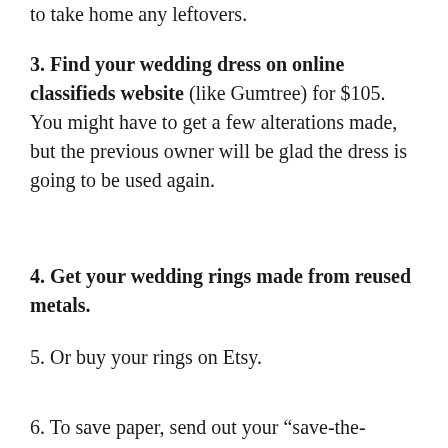to take home any leftovers.
3. Find your wedding dress on online classifieds website (like Gumtree) for $105. You might have to get a few alterations made, but the previous owner will be glad the dress is going to be used again.
4. Get your wedding rings made from reused metals.
5. Or buy your rings on Etsy.
6. To save paper, send out your “save-the-date” notes via email